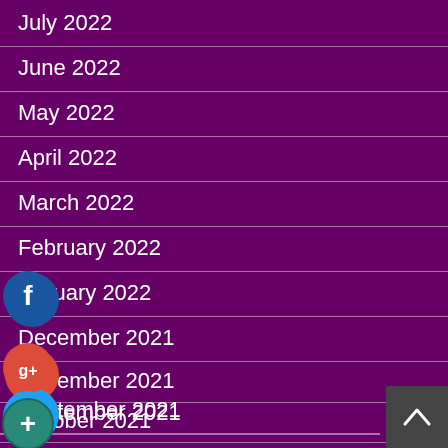July 2022
June 2022
May 2022
April 2022
March 2022
February 2022
January 2022
December 2021
November 2021
October 2021
September 2021
[Figure (infographic): Social media share icons: Facebook (blue circle with f), Google+ (red circle with g+), Twitter (light blue circle with bird), Add/follow (teal circle with +)]